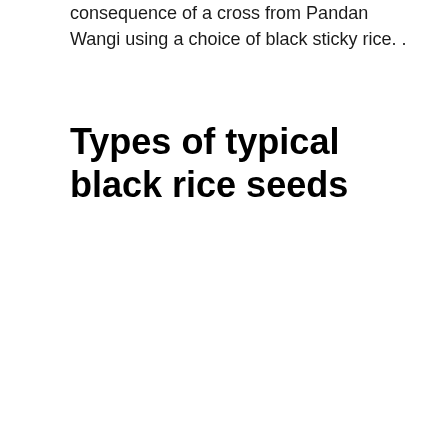consequence of a cross from Pandan Wangi using a choice of black sticky rice. .
Types of typical black rice seeds